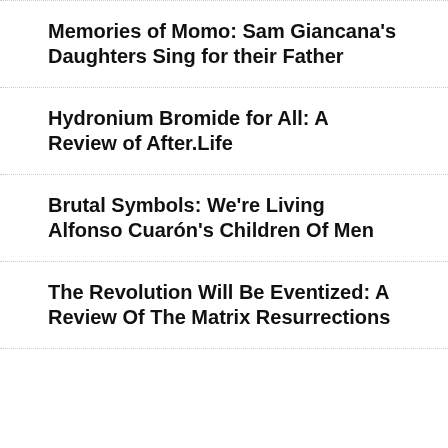Memories of Momo: Sam Giancana’s Daughters Sing for their Father
Hydronium Bromide for All: A Review of After.Life
Brutal Symbols: We’re Living Alfonso Cuarón’s Children Of Men
The Revolution Will Be Eventized: A Review Of The Matrix Resurrections